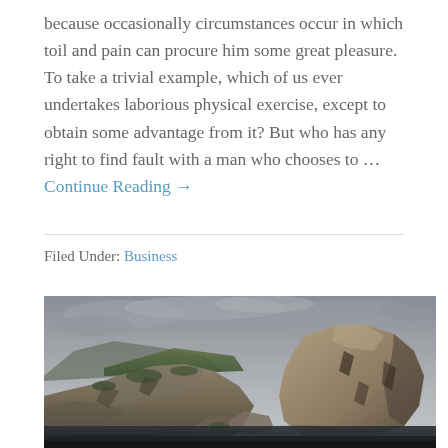because occasionally circumstances occur in which toil and pain can procure him some great pleasure. To take a trivial example, which of us ever undertakes laborious physical exercise, except to obtain some advantage from it? But who has any right to find fault with a man who chooses to … Continue Reading →
Filed Under: Business
[Figure (photo): Photograph of rocky coastal cliffs and promontory rising from dark sea water under an overcast grey sky]